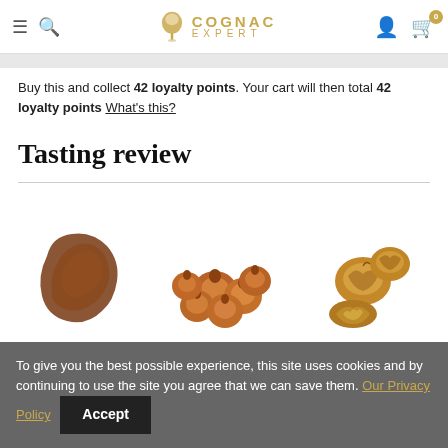Cognac Expert — navigation bar with hamburger menu, search, logo, user account, and cart (0 items)
Buy this and collect 42 loyalty points. Your cart will then total 42 loyalty points What's this?
Tasting review
[Figure (illustration): Three tasting note images: a piece of chocolate leather, a pile of hazelnuts, and a group of walnuts, representing flavor notes of the cognac.]
To give you the best possible experience, this site uses cookies and by continuing to use the site you agree that we can save them. Our Privacy Policy  Accept